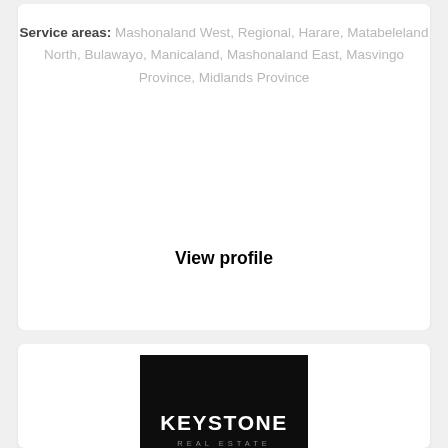Service areas: Mashonaland West, Regional, Harare, Matabeleland North, Bulawayo, Manicaland, Mashonaland East, Masvingo Province, Midlands Province
View profile
[Figure (logo): Keystone Real Estate logo — black background with white bold text KEYSTONE and grey text REAL ESTATE below]
Keystone Real Estate
3 Properties
Service areas: Harare, Mashonaland East